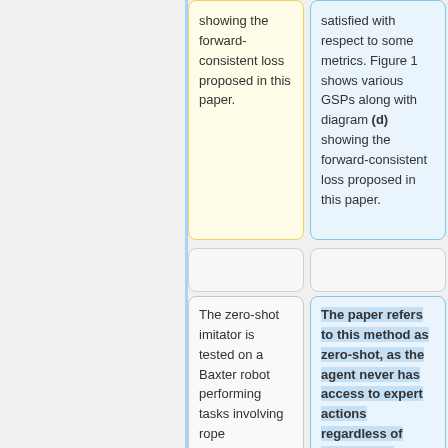showing the forward-consistent loss proposed in this paper.
satisfied with respect to some metrics. Figure 1 shows various GSPs along with diagram (d) showing the forward-consistent loss proposed in this paper.
The zero-shot imitator is tested on a Baxter robot performing tasks involving rope manipulation, a TurtleBot performing office navigation and orientation.
The paper refers to this method as zero-shot, as the agent never has access to expert actions regardless of being in the training state.